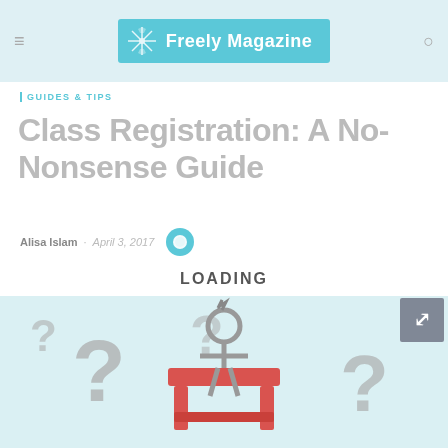Freely Magazine
GUIDES & TIPS
Class Registration: A No-Nonsense Guide
Alisa Islam · April 3, 2017
LOADING
[Figure (illustration): Illustration of a confused figure surrounded by large question marks, with a red podium or table shape in the center, on a light blue background. An expand/fullscreen button appears in the top-right corner of the image.]